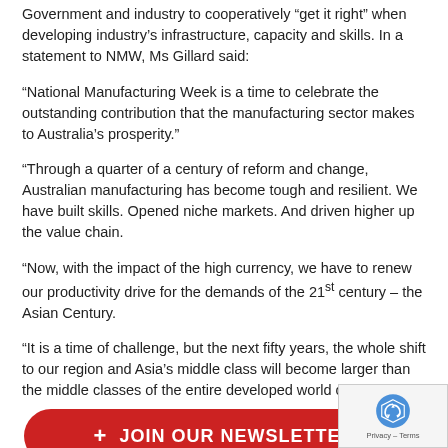Government and industry to cooperatively “get it right” when developing industry’s infrastructure, capacity and skills. In a statement to NMW, Ms Gillard said:
“National Manufacturing Week is a time to celebrate the outstanding contribution that the manufacturing sector makes to Australia’s prosperity.”
“Through a quarter of a century of reform and change, Australian manufacturing has become tough and resilient. We have built skills. Opened niche markets. And driven higher up the value chain.
“Now, with the impact of the high currency, we have to renew our productivity drive for the demands of the 21st century – the Asian Century.
“It is a time of challenge, but the next fifty years, the whole shift to our region and Asia’s middle class will become larger than the middle classes of the entire developed world combined.
[Figure (other): JOIN OUR NEWSLETTER button (red rounded rectangle with plus icon)]
“This is a huge potential advantage for Australian manufacturing provided we invest now in the innovative capacity, skills and